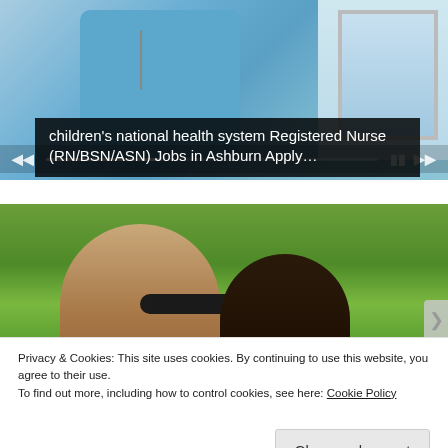[Figure (photo): Screenshot of a webpage showing a nurse in blue scrubs with a stethoscope near a patient, with video player controls overlaid.]
children's national health system Registered Nurse (RN/BSN/ASN) Jobs in Ashburn Apply…
[Figure (photo): Photo of two people taking a selfie outdoors with lush green landscape in the background. One person wears dark sunglasses.]
Privacy & Cookies: This site uses cookies. By continuing to use this website, you agree to their use.
To find out more, including how to control cookies, see here: Cookie Policy